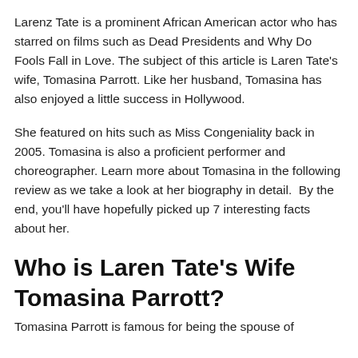Larenz Tate is a prominent African American actor who has starred on films such as Dead Presidents and Why Do Fools Fall in Love. The subject of this article is Laren Tate's wife, Tomasina Parrott. Like her husband, Tomasina has also enjoyed a little success in Hollywood.
She featured on hits such as Miss Congeniality back in 2005. Tomasina is also a proficient performer and choreographer. Learn more about Tomasina in the following review as we take a look at her biography in detail.  By the end, you'll have hopefully picked up 7 interesting facts about her.
Who is Laren Tate's Wife Tomasina Parrott?
Tomasina Parrott is famous for being the spouse of...